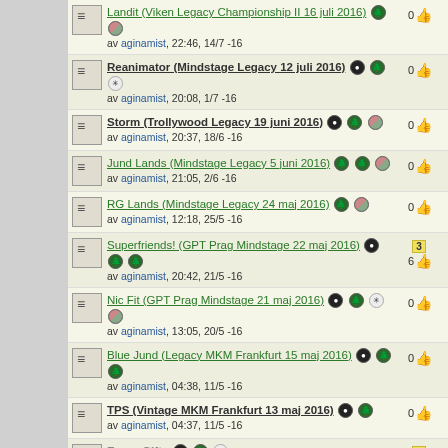Landit (Viken Legacy Championship II 16 juli 2016) av aginamist, 22:46, 14/7 -16 · 0 likes
Reanimator (Mindstage Legacy 12 juli 2016) av aginamist, 20:08, 1/7 -16 · 0 likes
Storm (Trollywood Legacy 19 juni 2016) av aginamist, 20:37, 18/6 -16 · 0 likes
Jund Lands (Mindstage Legacy 5 juni 2016) av aginamist, 21:05, 2/6 -16 · 0 likes
RG Lands (Mindstage Legacy 24 maj 2016) av aginamist, 12:18, 25/5 -16 · 0 likes
Superfriends! (GPT Prag Mindstage 22 maj 2016) av aginamist, 20:42, 21/5 -16 · 3 comments, 6 likes
Nic Fit (GPT Prag Mindstage 21 maj 2016) av aginamist, 13:05, 20/5 -16 · 0 likes
Blue Jund (Legacy MKM Frankfurt 15 maj 2016) av aginamist, 04:38, 11/5 -16 · 0 likes
TPS (Vintage MKM Frankfurt 13 maj 2016) av aginamist, 04:37, 11/5 -16 · 0 likes
Esper Gifts av aginamist från turneringen Magic-SM 2016, inlagd 14:56, 10/5 -16 · 1 comment, 0 likes